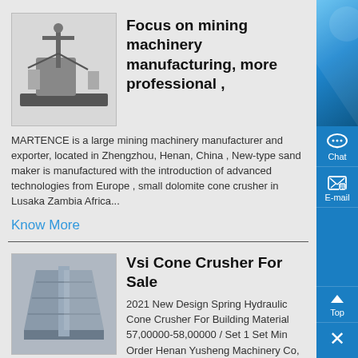[Figure (photo): Mining machinery equipment photo thumbnail]
Focus on mining machinery manufacturing, more professional ,
MARTENCE is a large mining machinery manufacturer and exporter, located in Zhengzhou, Henan, China , New-type sand maker is manufactured with the introduction of advanced technologies from Europe , small dolomite cone crusher in Lusaka Zambia Africa...
Know More
[Figure (photo): Vsi cone crusher equipment photo thumbnail]
Vsi Cone Crusher For Sale
2021 New Design Spring Hydraulic Cone Crusher For Building Material 57,00000-58,00000 / Set 1 Set Min Order Henan Yusheng Machinery Co, Ltd CN 1 YRS Contact Supplier 1/5 Baichy brand designed latest generation single cylinder hydraulic cone crusher, 01-00000...